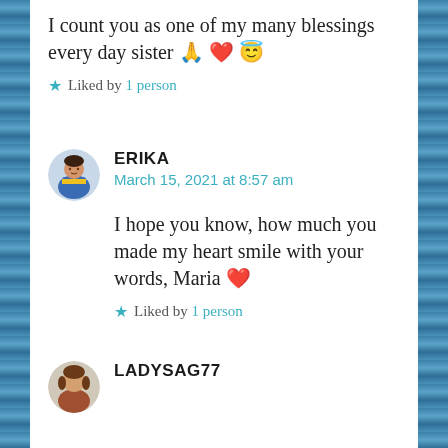I count you as one of my many blessings every day sister 🙏 ❤️ 😇
Liked by 1 person
ERIKA
March 15, 2021 at 8:57 am
I hope you know, how much you made my heart smile with your words, Maria ❤️
Liked by 1 person
LADYSAG77